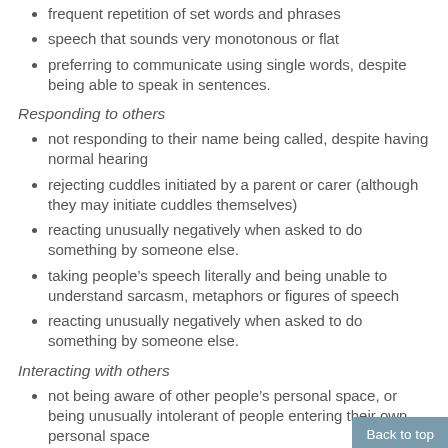frequent repetition of set words and phrases
speech that sounds very monotonous or flat
preferring to communicate using single words, despite being able to speak in sentences.
Responding to others
not responding to their name being called, despite having normal hearing
rejecting cuddles initiated by a parent or carer (although they may initiate cuddles themselves)
reacting unusually negatively when asked to do something by someone else.
taking people's speech literally and being unable to understand sarcasm, metaphors or figures of speech
reacting unusually negatively when asked to do something by someone else.
Interacting with others
not being aware of other people's personal space, or being unusually intolerant of people entering their own personal space